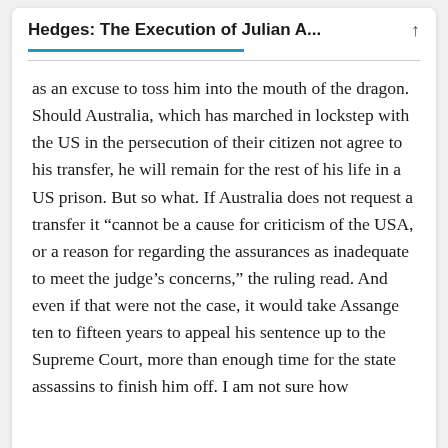Hedges: The Execution of Julian A...
as an excuse to toss him into the mouth of the dragon. Should Australia, which has marched in lockstep with the US in the persecution of their citizen not agree to his transfer, he will remain for the rest of his life in a US prison. But so what. If Australia does not request a transfer it “cannot be a cause for criticism of the USA, or a reason for regarding the assurances as inadequate to meet the judge’s concerns,” the ruling read. And even if that were not the case, it would take Assange ten to fifteen years to appeal his sentence up to the Supreme Court, more than enough time for the state assassins to finish him off. I am not sure how